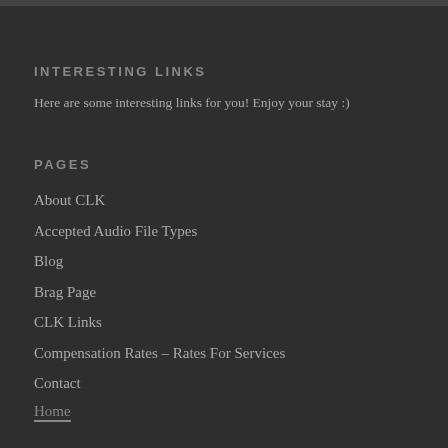INTERESTING LINKS
Here are some interesting links for you! Enjoy your stay :)
PAGES
About CLK
Accepted Audio File Types
Blog
Brag Page
CLK Links
Compensation Rates – Rates For Services
Contact
Home